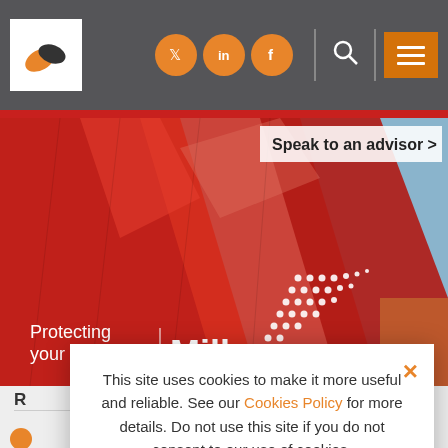[Figure (screenshot): Navigation bar with Miller Insurance logo (white box with orange and dark leaf icon), social media icons (Twitter, LinkedIn, Facebook) in orange circles, search icon, and orange hamburger menu button on dark gray background]
[Figure (photo): Hero banner image showing abstract red and blue geometric shapes/building facades with 'Protecting your world | Miller' text overlay and 'Speak to an advisor >' button]
This site uses cookies to make it more useful and reliable. See our Cookies Policy for more details. Do not use this site if you do not consent to our use of cookies.
I CONSENT
SEE COOKIE POLICY